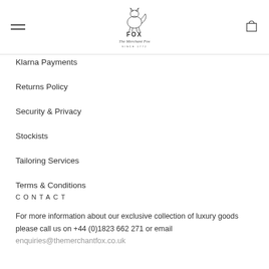[Figure (logo): Fox The Merchant Fox Since 1772 logo with fox illustration and script text]
Klarna Payments
Returns Policy
Security & Privacy
Stockists
Tailoring Services
Terms & Conditions
CONTACT
For more information about our exclusive collection of luxury goods please call us on +44 (0)1823 662 271 or email enquiries@themerchantfox.co.uk